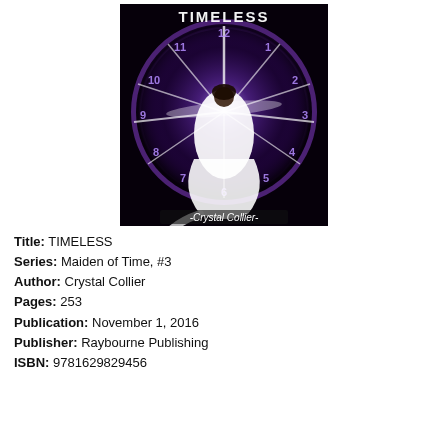[Figure (illustration): Book cover for TIMELESS by Crystal Collier. Dark background featuring a large glowing purple clock face with numbers 1-12. A woman in a white flowing dress stands with arms outstretched at the center of bright white light rays. The title 'TIMELESS' appears at the top in sparkling silver letters, and '-Crystal Collier-' appears at the bottom.]
Title: TIMELESS
Series: Maiden of Time, #3
Author: Crystal Collier
Pages: 253
Publication: November 1, 2016
Publisher: Raybourne Publishing
ISBN: 9781629829456